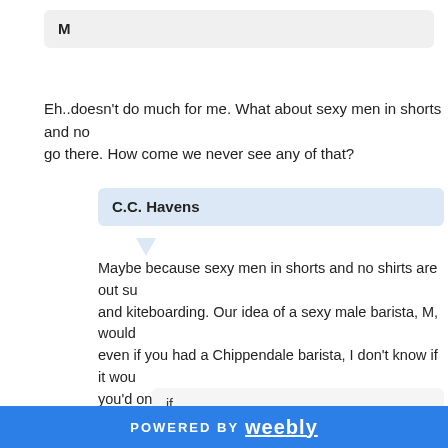M
Eh..doesn't do much for me. What about sexy men in shorts and no shirts? I'd go there. How come we never see any of that?
C.C. Havens
Maybe because sexy men in shorts and no shirts are out surfing and kiteboarding. Our idea of a sexy male barista, M, would be... even if you had a Chippendale barista, I don't know if it wou... you'd only get women but on second thought you'd get ALO... your day job yet? Sounds like a promising business proposi... interviews.
if
POWERED BY weebly